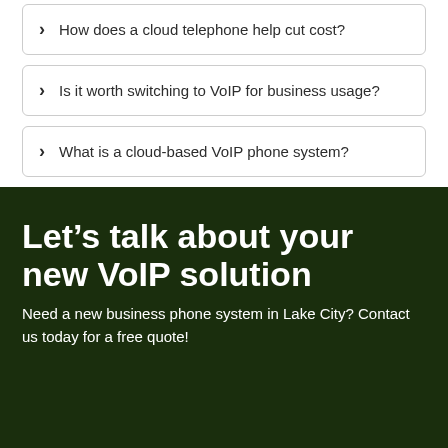How does a cloud telephone help cut cost?
Is it worth switching to VoIP for business usage?
What is a cloud-based VoIP phone system?
Let's talk about your new VoIP solution
Need a new business phone system in Lake City? Contact us today for a free quote!